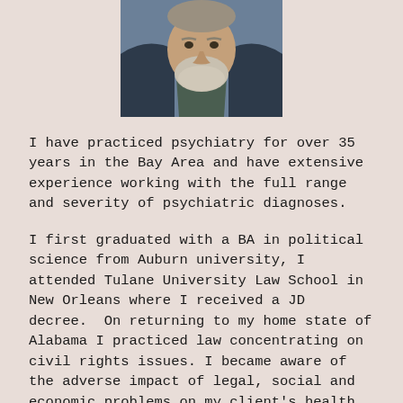[Figure (photo): Portrait photo of an older man with a white beard wearing a blue jacket]
I have practiced psychiatry for over 35 years in the Bay Area and have extensive experience working with the full range and severity of psychiatric diagnoses.
I first graduated with a BA in political science from Auburn university, I attended Tulane University Law School in New Orleans where I received a JD decree.  On returning to my home state of Alabama I practiced law concentrating on civil rights issues. I became aware of the adverse impact of legal, social and economic problems on my client's health both physical and mental.  This led me to attended Loyola Medical School in